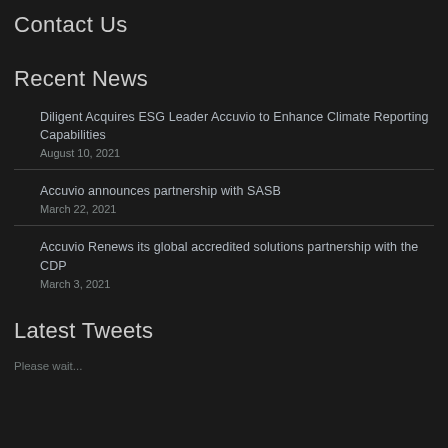Contact Us
Recent News
Diligent Acquires ESG Leader Accuvio to Enhance Climate Reporting Capabilities
August 10, 2021
Accuvio announces partnership with SASB
March 22, 2021
Accuvio Renews its global accredited solutions partnership with the CDP
March 3, 2021
Latest Tweets
Please wait...